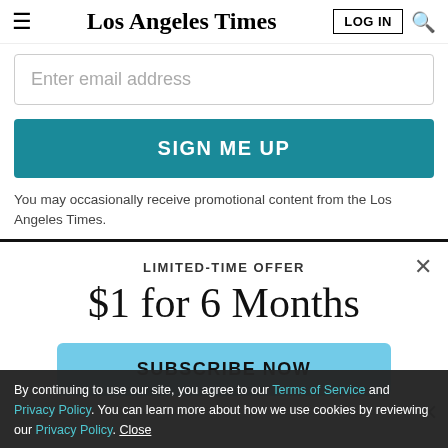Los Angeles Times
Enter email address
SIGN ME UP
You may occasionally receive promotional content from the Los Angeles Times.
LIMITED-TIME OFFER
$1 for 6 Months
SUBSCRIBE NOW
By continuing to use our site, you agree to our Terms of Service and Privacy Policy. You can learn more about how we use cookies by reviewing our Privacy Policy. Close